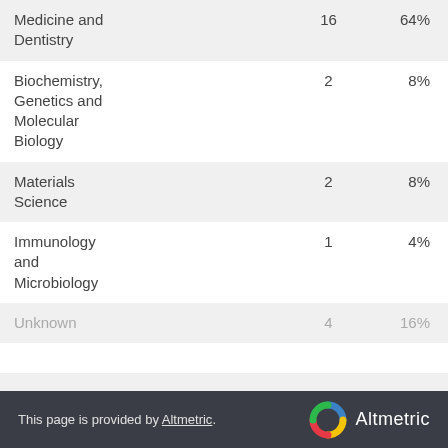|  |  |  |
| --- | --- | --- |
| Medicine and Dentistry | 16 | 64% |
| Biochemistry, Genetics and Molecular Biology | 2 | 8% |
| Materials Science | 2 | 8% |
| Immunology and Microbiology | 1 | 4% |
| Unknown | 4 | 16% |
This page is provided by Altmetric.